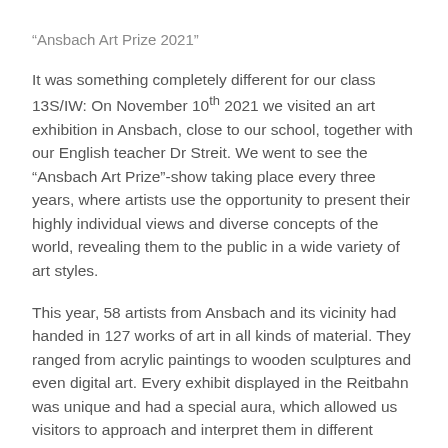“Ansbach Art Prize 2021”
It was something completely different for our class 13S/IW: On November 10th 2021 we visited an art exhibition in Ansbach, close to our school, together with our English teacher Dr Streit. We went to see the “Ansbach Art Prize”-show taking place every three years, where artists use the opportunity to present their highly individual views and diverse concepts of the world, revealing them to the public in a wide variety of art styles.
This year, 58 artists from Ansbach and its vicinity had handed in 127 works of art in all kinds of material. They ranged from acrylic paintings to wooden sculptures and even digital art. Every exhibit displayed in the Reitbahn was unique and had a special aura, which allowed us visitors to approach and interpret them in different ways.